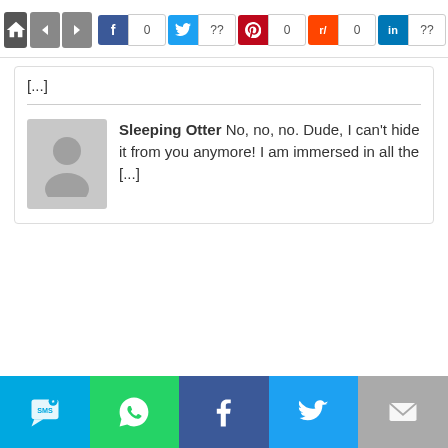[Figure (screenshot): Social sharing toolbar with home button, navigation arrows, and share buttons for Facebook (0), Twitter (??), Pinterest (0), Reddit (0), LinkedIn (??)]
[...]
Sleeping Otter No, no, no. Dude, I can't hide it from you anymore! I am immersed in all the [...]
[Figure (screenshot): Bottom social sharing bar with SMS, WhatsApp, Facebook, Twitter, and Email buttons]